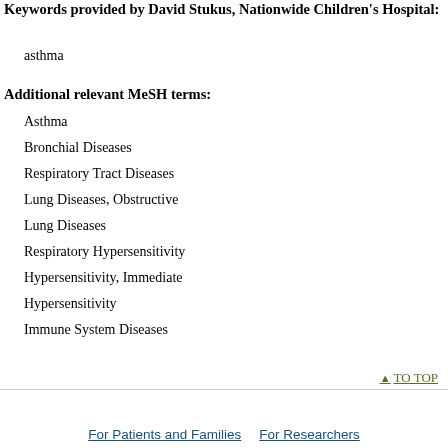Keywords provided by David Stukus, Nationwide Children's Hospital:
asthma
Additional relevant MeSH terms:
Asthma
Bronchial Diseases
Respiratory Tract Diseases
Lung Diseases, Obstructive
Lung Diseases
Respiratory Hypersensitivity
Hypersensitivity, Immediate
Hypersensitivity
Immune System Diseases
^ TO TOP
For Patients and Families   For Researchers